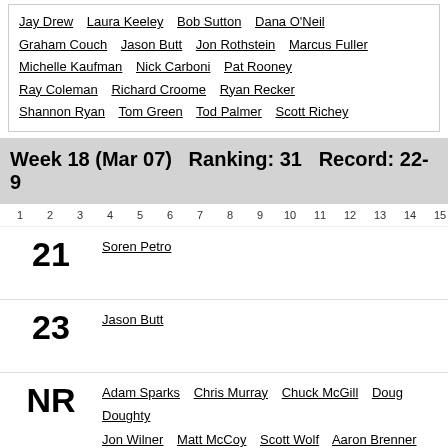Jay Drew  Laura Keeley  Bob Sutton  Dana O'Neil  Graham Couch  Jason Butt  Jon Rothstein  Marcus Fuller  Michelle Kaufman  Nick Carboni  Pat Rooney  Ray Coleman  Richard Croome  Ryan Recker  Shannon Ryan  Tom Green  Tod Palmer  Scott Richey
Week 18 (Mar 07)   Ranking: 31   Record: 22-9
1 2 3 4 5 6 7 8 9 10 11 12 13 14 15 16 17 18 19 20 21 22 23 24 25 NR
21  Soren Petro
23  Jason Butt
NR  Adam Sparks  Chris Murray  Chuck McGill  Doug Doughty  Jon Wilner  Matt McCoy  Scott Wolf  Aaron Brenner  Bob Holt  Bret Strelow  Cecil Hurt  Chris Dachille  Cormac Gordon  Dave Borges  Dick Vitale  Doug Haller